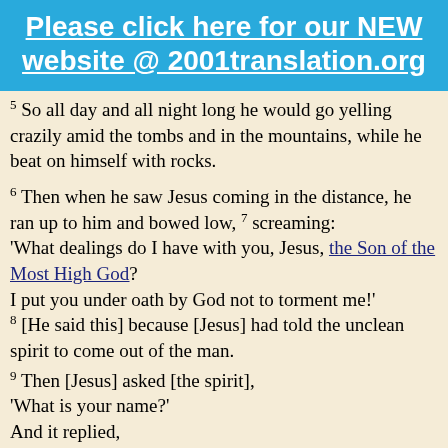Please click here for our NEW website @ 2001translation.org
5 So all day and all night long he would go yelling crazily amid the tombs and in the mountains, while he beat on himself with rocks.
6 Then when he saw Jesus coming in the distance, he ran up to him and bowed low, 7 screaming: 'What dealings do I have with you, Jesus, the Son of the Most High God? I put you under oath by God not to torment me!' 8 [He said this] because [Jesus] had told the unclean spirit to come out of the man.
9 Then [Jesus] asked [the spirit], 'What is your name?' And it replied, 'My name is Legion, because there are many of